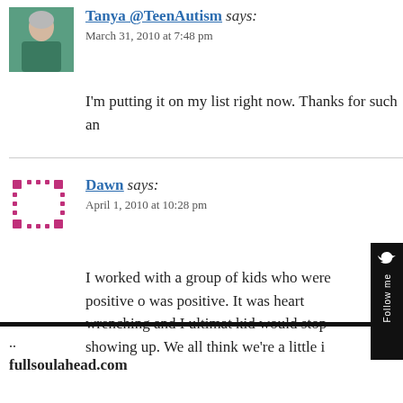[Figure (photo): Profile photo of Tanya, a woman with gray hair wearing a teal/green top]
Tanya @TeenAutism says:
March 31, 2010 at 7:48 pm
I'm putting it on my list right now. Thanks for such an
[Figure (illustration): Dawn's avatar - a pink/magenta dot pattern arranged in a square grid]
Dawn says:
April 1, 2010 at 10:28 pm
I worked with a group of kids who were positive o was positive. It was heart wrenching and I ultimat kid would stop showing up. We all think we're a little i
[Figure (illustration): Follow me sidebar with bird icon on right edge]
..
fullsoulahead.com